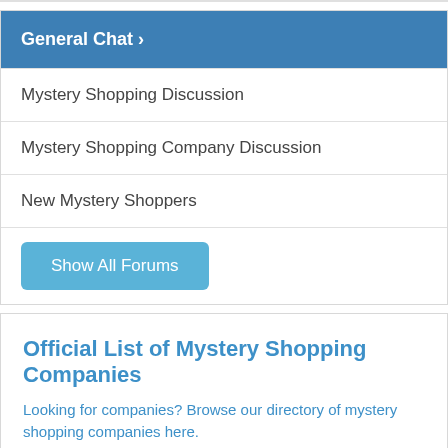General Chat ›
Mystery Shopping Discussion
Mystery Shopping Company Discussion
New Mystery Shoppers
Show All Forums
Official List of Mystery Shopping Companies
Looking for companies? Browse our directory of mystery shopping companies here.
Mystery Shopper Magazine
Subscribe now, completely free.